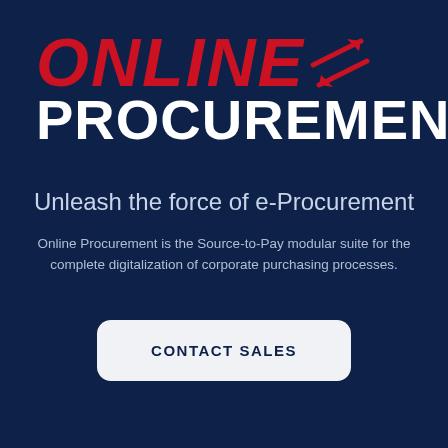ONLINE PROCUREMENT
Unleash the force of e-Procurement
Online Procurement is the Source-to-Pay modular suite for the complete digitalization of corporate purchasing processes.
CONTACT SALES